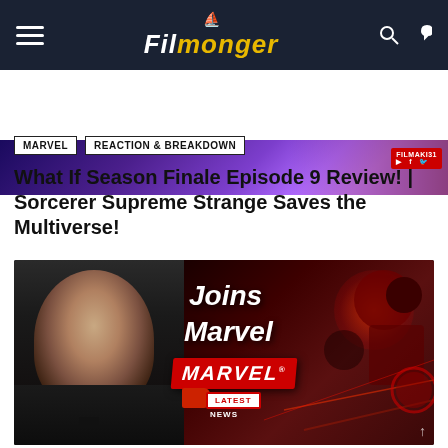FILMONGER
[Figure (photo): Hero banner strip showing cosmic/purple Marvel-themed background with YouTube badge overlay]
MARVEL
REACTION & BREAKDOWN
What If Season Finale Episode 9 Review! | Sorcerer Supreme Strange Saves the Multiverse!
[Figure (photo): Composite image: actor in suit on left, 'Joins Marvel' text overlay in center with Marvel logo badge and Latest News badge, Marvel superhero characters (Deadpool, Captain America, Ant-Man) on red-glowing right side]